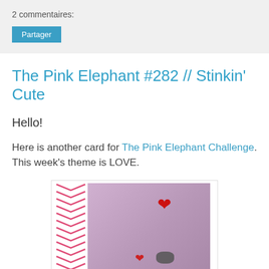2 commentaires:
Partager
The Pink Elephant #282 // Stinkin' Cute
Hello!
Here is another card for The Pink Elephant Challenge. This week's theme is LOVE.
[Figure (photo): A handmade card with a purple/pink background featuring a pink chevron strip on the left side, a red heart near the top center, a smaller red heart near the bottom, and a circular figure at the bottom center.]